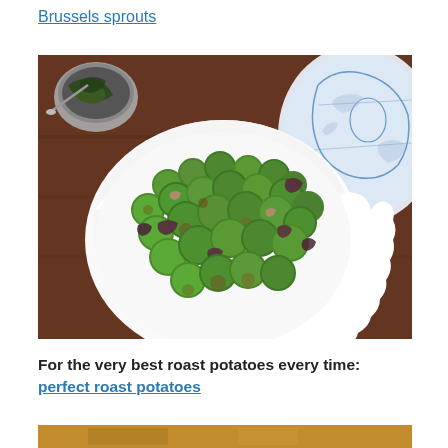Brussels sprouts
[Figure (photo): A white ceramic bowl filled with roasted Brussels sprouts and mushrooms on a dark wooden table. A blue and white decorative plate is visible in the upper right corner, and a small dark bowl with greens is in the upper left.]
For the very best roast potatoes every time: perfect roast potatoes
[Figure (photo): Bottom portion of another food photo, partially visible.]